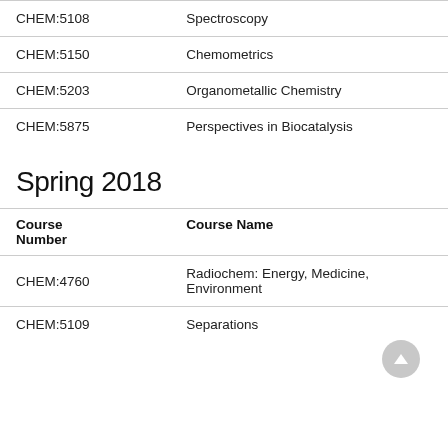| Course Number | Course Name |
| --- | --- |
| CHEM:5108 | Spectroscopy |
| CHEM:5150 | Chemometrics |
| CHEM:5203 | Organometallic Chemistry |
| CHEM:5875 | Perspectives in Biocatalysis |
Spring 2018
| Course Number | Course Name |
| --- | --- |
| CHEM:4760 | Radiochem: Energy, Medicine, Environment |
| CHEM:5109 | Separations |